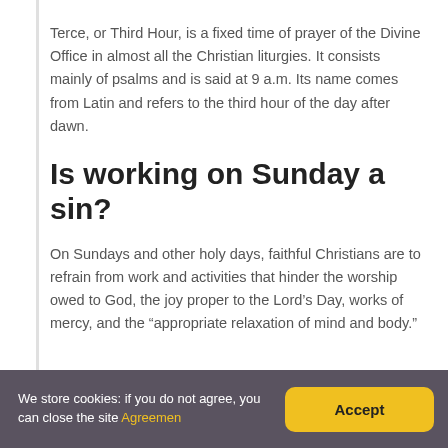Terce, or Third Hour, is a fixed time of prayer of the Divine Office in almost all the Christian liturgies. It consists mainly of psalms and is said at 9 a.m. Its name comes from Latin and refers to the third hour of the day after dawn.
Is working on Sunday a sin?
On Sundays and other holy days, faithful Christians are to refrain from work and activities that hinder the worship owed to God, the joy proper to the Lord's Day, works of mercy, and the “appropriate relaxation of mind and body.”
We store cookies: if you do not agree, you can close the site Agreemen [Accept]